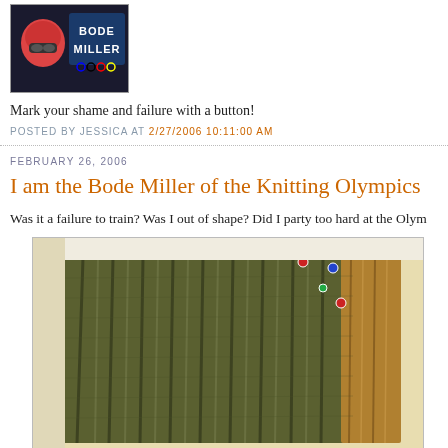[Figure (photo): Bode Miller promotional image with helmet and text 'BODE MILLER']
Mark your shame and failure with a button!
POSTED BY JESSICA AT 2/27/2006 10:11:00 AM
FEBRUARY 26, 2006
I am the Bode Miller of the Knitting Olympics
Was it a failure to train? Was I out of shape? Did I party too hard at the Olym
[Figure (photo): Partially knitted olive/dark green ribbed knitting project on needles with stitch markers]